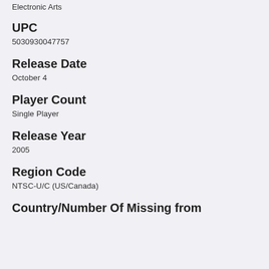Electronic Arts
UPC
5030930047757
Release Date
October 4
Player Count
Single Player
Release Year
2005
Region Code
NTSC-U/C (US/Canada)
Country/Number Of Missing from